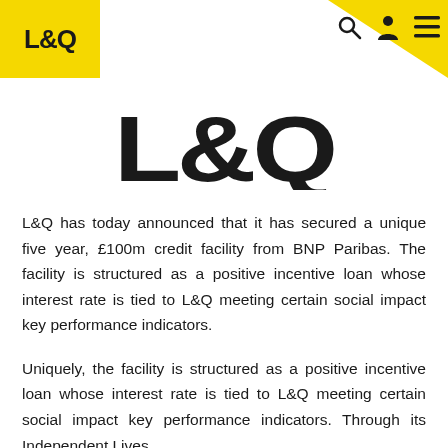L&Q
[Figure (logo): Large L&Q logo text displayed as hero/watermark image, partially cropped, dark on white background]
L&Q has today announced that it has secured a unique five year, £100m credit facility from BNP Paribas. The facility is structured as a positive incentive loan whose interest rate is tied to L&Q meeting certain social impact key performance indicators.
Uniquely, the facility is structured as a positive incentive loan whose interest rate is tied to L&Q meeting certain social impact key performance indicators. Through its Independent Lives